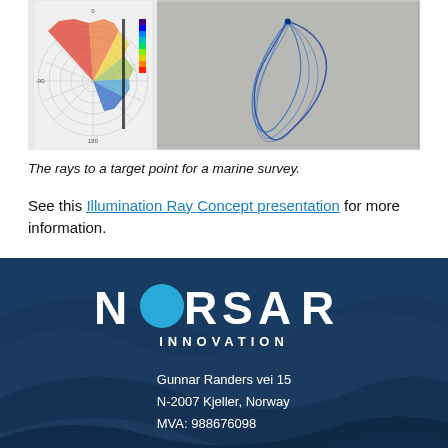[Figure (photo): Two side-by-side images: left shows a polar/radial diagram with colored seismic rays for a marine survey; right shows a 3D blue curve/spiral shape on grey background.]
The rays to a target point for a marine survey.
See this Illumination Ray Concept presentation for more information.
[Figure (logo): NORSAR INNOVATION logo with blue circle replacing the O, on dark blue wavy background with address and contact info.]
Gunnar Randers vei 15
N-2007 Kjeller, Norway
MVA: 988676098
+47 63 80 59 00
sales@norsar.com